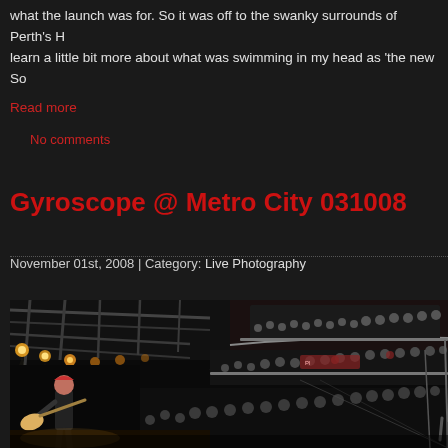what the launch was for. So it was off to the swanky surrounds of Perth's H learn a little bit more about what was swimming in my head as 'the new So
Read more
No comments
Gyroscope @ Metro City 031008
November 01st, 2008 | Category: Live Photography
[Figure (photo): Concert photo of Gyroscope at Metro City on 03/10/08. Shows a guitarist on stage left performing to a large crowd filling multiple tiers/balconies of the venue. Stage lighting rigs and trusses visible overhead. Dark venue with warm stage lighting.]